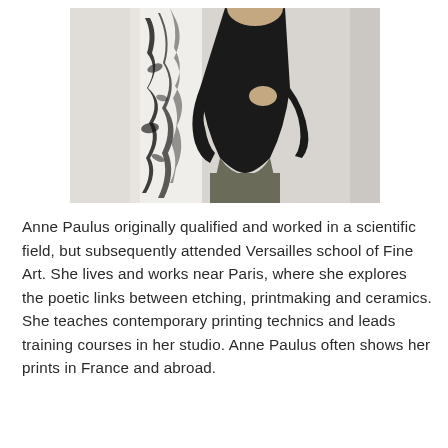[Figure (photo): A woman in a black long-sleeve top and olive/grey skirt standing in front of a white wall with a large abstract artwork featuring dark, textured black marks on white panels.]
Anne Paulus originally qualified and worked in a scientific field, but subsequently attended Versailles school of Fine Art. She lives and works near Paris, where she explores the poetic links between etching, printmaking and ceramics. She teaches contemporary printing technics and leads training courses in her studio. Anne Paulus often shows her prints in France and abroad.